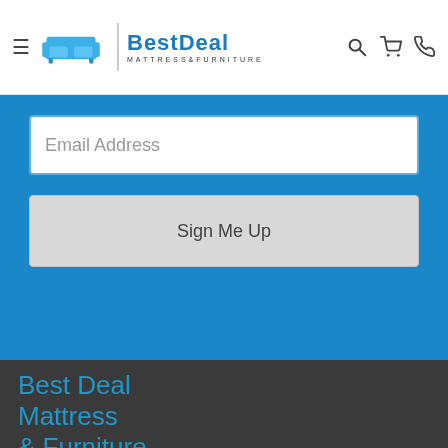[Figure (logo): Best Deal Mattress & Furniture logo with sofa icon, hamburger menu, search, cart, and phone icons in the header navigation bar]
Email Address
Sign Me Up
Best Deal Mattress & Furniture